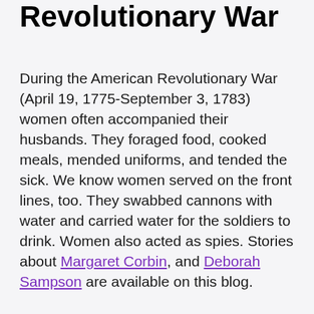Revolutionary War
During the American Revolutionary War (April 19, 1775-September 3, 1783) women often accompanied their husbands. They foraged food, cooked meals, mended uniforms, and tended the sick. We know women served on the front lines, too. They swabbed cannons with water and carried water for the soldiers to drink. Women also acted as spies. Stories about Margaret Corbin, and Deborah Sampson are available on this blog.